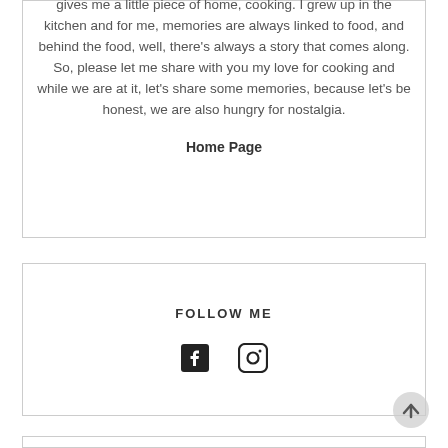gives me a little piece of home, cooking. I grew up in the kitchen and for me, memories are always linked to food, and behind the food, well, there's always a story that comes along. So, please let me share with you my love for cooking and while we are at it, let's share some memories, because let's be honest, we are also hungry for nostalgia.
Home Page
FOLLOW ME
[Figure (other): Facebook and Instagram social media icons]
[Figure (other): Scroll to top button - circular arrow up icon]